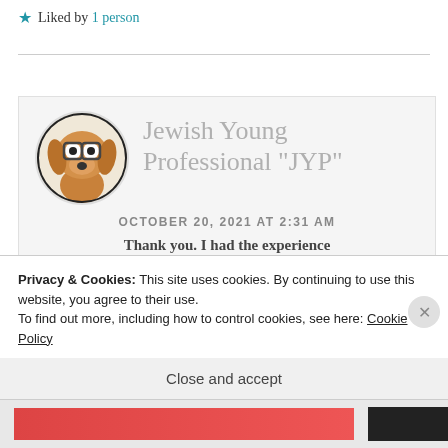★ Liked by 1 person
REPLY
[Figure (illustration): Avatar of a cartoon dog wearing glasses, with a surprised expression, circular crop]
Jewish Young Professional "JYP"
OCTOBER 20, 2021 AT 2:31 AM
Thank you. I had the experience
Privacy & Cookies: This site uses cookies. By continuing to use this website, you agree to their use.
To find out more, including how to control cookies, see here: Cookie Policy
Close and accept